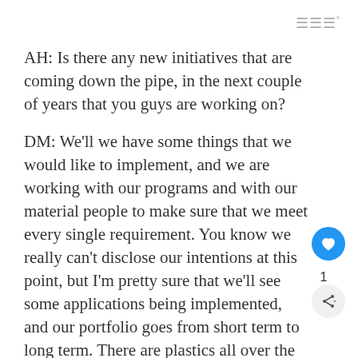≡ °
AH: Is there any new initiatives that are coming down the pipe, in the next couple of years that you guys are working on?
DM: We'll we have some things that we would like to implement, and we are working with our programs and with our material people to make sure that we meet every single requirement. You know we really can't disclose our intentions at this point, but I'm pretty sure that we'll see some applications being implemented, and our portfolio goes from short term to long term. There are plastics all over the vehicle. It all has different requirements. So, we would like to see things utilized as soon as they possibly can.